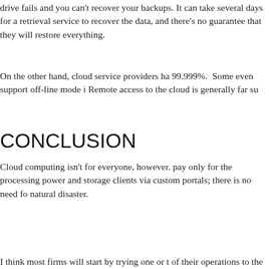drive fails and you can't recover your backups. It can take several days for a retrieval service to recover the data, and there's no guarantee that they will restore everything.
On the other hand, cloud service providers have uptimes of 99.999%. Some even support off-line mode in case of an outage. Remote access to the cloud is generally far su
CONCLUSION
Cloud computing isn't for everyone, however. With cloud you pay only for the processing power and storage you need; collaborate with clients via custom portals; there is no need fo natural disaster.
I think most firms will start by trying one or t of their operations to the cloud. I encourage y
Posted at 06:34 PM in Business Tips , Case Managem Document Management, Mobile Devices, Software G
[Figure (infographic): Social sharing buttons: Reblog (0), Digg This, Save to del.i]
June 10, 2010
Lose Your Desktop and P Lawyerist
Lose Your Desktop and Print From the Clou